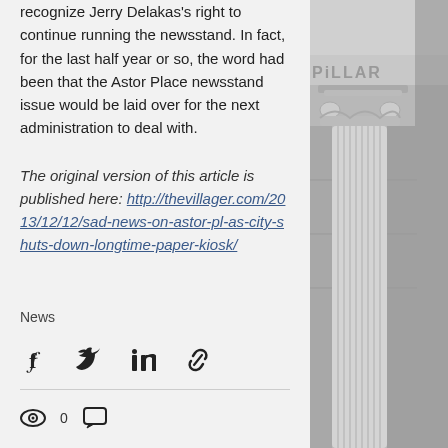recognize Jerry Delakas's right to continue running the newsstand. In fact, for the last half year or so, the word had been that the Astor Place newsstand issue would be laid over for the next administration to deal with.
The original version of this article is published here: http://thevillager.com/2013/12/12/sad-news-on-astor-pl-as-city-shuts-down-longtime-paper-kiosk/
News
[Figure (photo): Black and white photo of classical architectural columns with decorative Corinthian capitals, partial text 'PILLAR' visible on entablature]